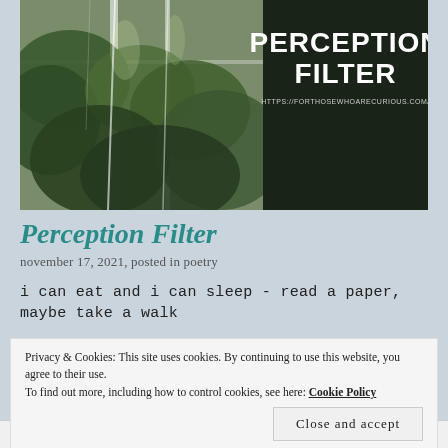[Figure (photo): Blog header banner image with a greenhouse/foliage photo on the left and a dark panel on the right showing 'PERCEPTION FILTER' title and URL https://forthosewhoarecurious.com/]
Perception Filter
november 17, 2021, posted in poetry
i can eat and i can sleep - read a paper, maybe take a walk
Privacy & Cookies: This site uses cookies. By continuing to use this website, you agree to their use.
To find out more, including how to control cookies, see here: Cookie Policy
Close and accept
tagged blog, mental illness, poetry, wordpress, writer    leave a